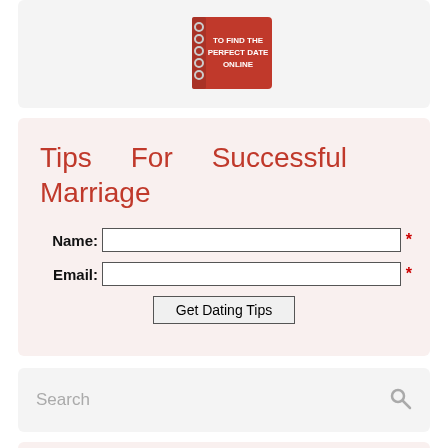[Figure (illustration): Partial view of a red spiral-bound book titled 'Find the Perfect Date Online' on a light grey card background]
Tips For Successful Marriage
Name: [input field] *
Email: [input field] *
Get Dating Tips
Search